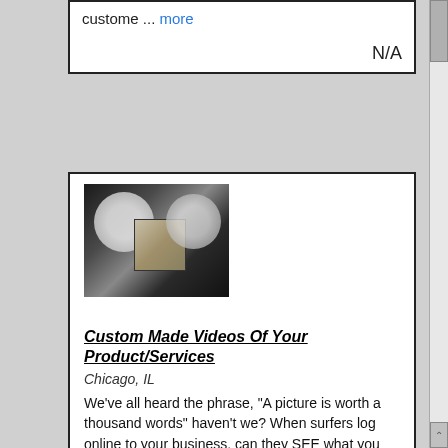custome ... more
N/A
[Figure (photo): Photography studio setup with large white umbrella reflectors and camera equipment on a dark background]
Custom Made Videos Of Your Product/Services
Chicago, IL
We've all heard the phrase, "A picture is worth a thousand words" haven't we? When surfers log online to your business, can they SEE what you have, or do you have a physical description? I you don't ... more